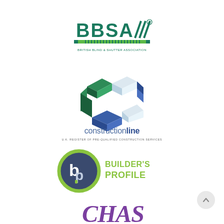[Figure (logo): BBSA British Blind & Shutter Association logo — teal/green text 'BBSA' with diagonal stripes, striped bar underneath, small text 'BRITISH BLIND & SHUTTER ASSOCIATION']
[Figure (logo): Constructionline logo — hexagonal 3D shape made of blue and green rectangular blocks, text 'constructionline' below in blue/teal, subtext 'U.K. REGISTER OF PRE-QUALIFIED CONSTRUCTION SERVICES']
[Figure (logo): Builder's Profile logo — circular dark blue/grey ring with 'b' and 'p' letters inside (green-tipped), text 'BUILDER'S PROFILE' in yellow-green bold to the right]
[Figure (logo): CHAS logo — purple/violet stylized text 'CHAS' partially visible at bottom of page]